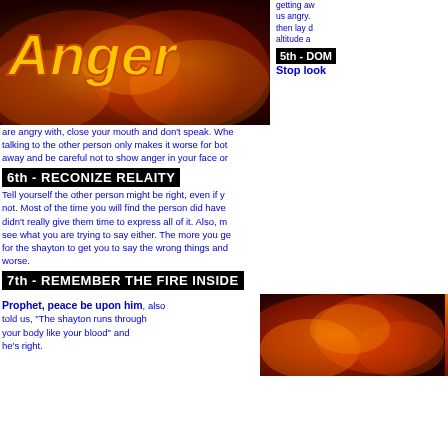[Figure (photo): Fire/ember background image with stylized 'Anger' text in golden-orange letters]
getting aw... us angry. then lay d altitude a
5th - DON... Stop look...
are angry with, close your mouth and don't speak. Whe talking to the other person only makes it worse for bot away and be careful not to show anger in your face or
6th - RECONIZE RELAITY
Tell yourself the other person might be right, even if y not. Most of the time you will find the person did have didn't really give them time to express all of it. Also, m see what you are trying to say either. The more you ge for the shayton to get you to say the wrong things and worse.
7th - REMEMBER THE FIRE INSIDE
Prophet, peace be upon him, also told us, "The shayton runs through your body like your blood" and he's right.
[Figure (photo): Fire/ember close-up photo on bottom right]